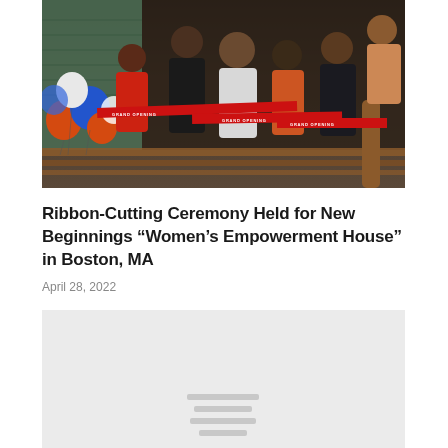[Figure (photo): Group of women at a ribbon-cutting grand opening ceremony on a porch/balcony with red 'GRAND OPENING' ribbons and blue, orange, and white balloons on the left side.]
Ribbon-Cutting Ceremony Held for New Beginnings “Women’s Empowerment House” in Boston, MA
April 28, 2022
[Figure (photo): Partially loaded or placeholder image shown as a light gray rectangle with small loading indicator lines.]